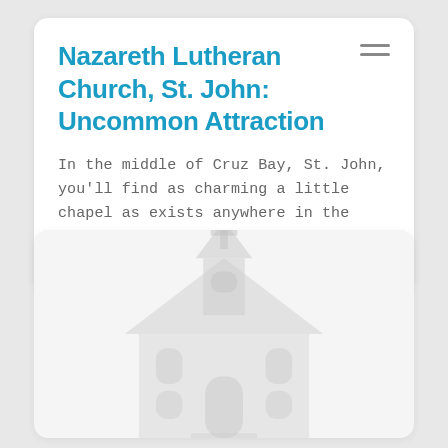Nazareth Lutheran Church, St. John: Uncommon Attraction
In the middle of Cruz Bay, St. John, you'll find as charming a little chapel as exists anywhere in the Caribbean: Nazareth Lutheran Church.
[Figure (illustration): Faint watermark-style illustration of a church building (Nazareth Lutheran Church) on a light gray background card]